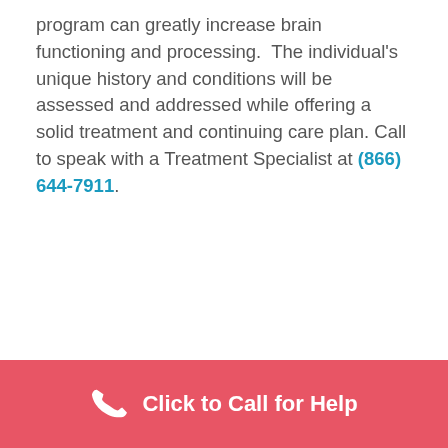program can greatly increase brain functioning and processing.  The individual's unique history and conditions will be assessed and addressed while offering a solid treatment and continuing care plan. Call to speak with a Treatment Specialist at (866) 644-7911.
Click to Call for Help